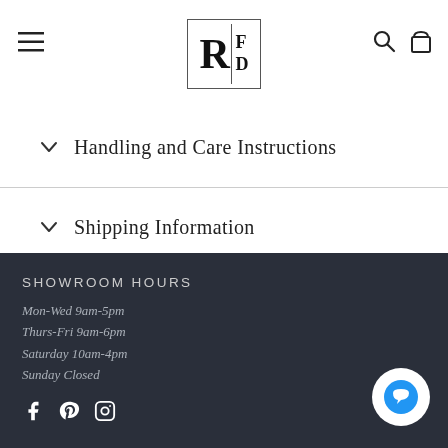RFD navigation header with logo, hamburger menu, search, and bag icons
Handling and Care Instructions
Shipping Information
SHOWROOM HOURS
Mon-Wed 9am-5pm
Thurs-Fri 9am-6pm
Saturday 10am-4pm
Sunday Closed